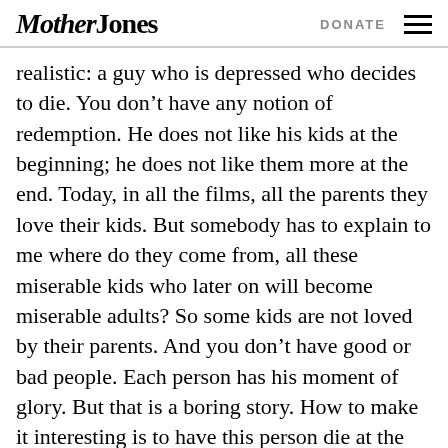Mother Jones  DONATE
realistic: a guy who is depressed who decides to die. You don’t have any notion of redemption. He does not like his kids at the beginning; he does not like them more at the end. Today, in all the films, all the parents they love their kids. But somebody has to explain to me where do they come from, all these miserable kids who later on will become miserable adults? So some kids are not loved by their parents. And you don’t have good or bad people. Each person has his moment of glory. But that is a boring story. How to make it interesting is to have this person die at the beginning—so to be able to use the death to celebrate his life for 1 hour and 22 minutes.
MJ: So when you f…